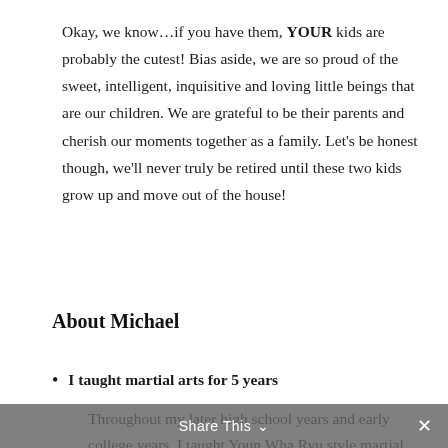Okay, we know…if you have them, YOUR kids are probably the cutest! Bias aside, we are so proud of the sweet, intelligent, inquisitive and loving little beings that are our children. We are grateful to be their parents and cherish our moments together as a family. Let's be honest though, we'll never truly be retired until these two kids grow up and move out of the house!
About Michael
I taught martial arts for 5 years
Throughout my later high school years and early college years, I taught Youn Wha Ryu style martial
Share This